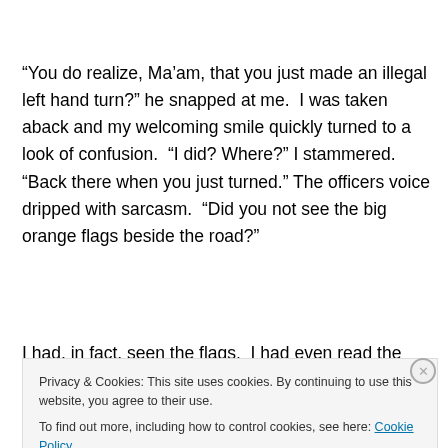“You do realize, Ma’am, that you just made an illegal left hand turn?” he snapped at me.  I was taken aback and my welcoming smile quickly turned to a look of confusion.  “I did? Where?” I stammered.  “Back there when you just turned.” The officers voice dripped with sarcasm.  “Did you not see the big orange flags beside the road?”
I had, in fact, seen the flags.  I had even read the signs
Privacy & Cookies: This site uses cookies. By continuing to use this website, you agree to their use.
To find out more, including how to control cookies, see here: Cookie Policy